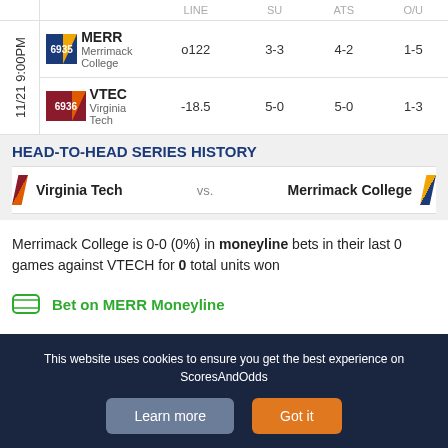|  |  | LINE | SU | ATS | O/U |
| --- | --- | --- | --- | --- | --- |
| 11/21 9:00PM | MERR / Merrimack College (6935) | o122 | 3-3 | 4-2 | 1-5 |
| 11/21 9:00PM | VTEC / Virginia Tech (6936) | -18.5 | 5-0 | 5-0 | 1-3 |
HEAD-TO-HEAD SERIES HISTORY
Virginia Tech vs. Merrimack College
Merrimack College is 0-0 (0%) in moneyline bets in their last 0 games against VTECH for 0 total units won
Bet on MERR Moneyline
This website uses cookies to ensure you get the best experience on ScoresAndOdds